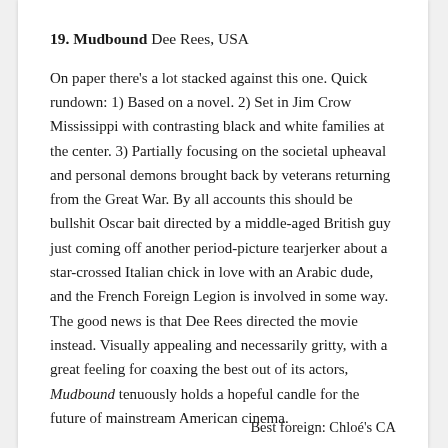19. Mudbound Dee Rees, USA
On paper there's a lot stacked against this one. Quick rundown: 1) Based on a novel. 2) Set in Jim Crow Mississippi with contrasting black and white families at the center. 3) Partially focusing on the societal upheaval and personal demons brought back by veterans returning from the Great War. By all accounts this should be bullshit Oscar bait directed by a middle-aged British guy just coming off another period-picture tearjerker about a star-crossed Italian chick in love with an Arabic dude, and the French Foreign Legion is involved in some way. The good news is that Dee Rees directed the movie instead. Visually appealing and necessarily gritty, with a great feeling for coaxing the best out of its actors, Mudbound tenuously holds a hopeful candle for the future of mainstream American cinema.
Best foreign: Chloé's CA...